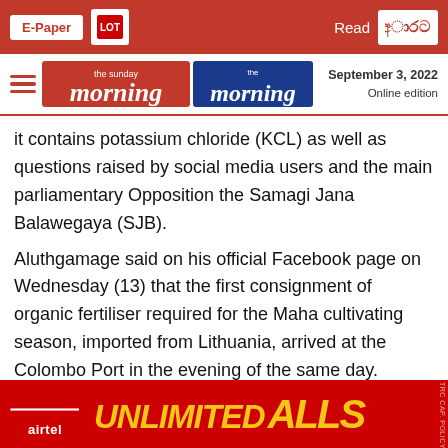E-Paper | [logo] | Read [Sinhala logo]
the sunday morning | the morning | September 3, 2022 | Online edition
it contains potassium chloride (KCL) as well as questions raised by social media users and the main parliamentary Opposition the Samagi Jana Balawegaya (SJB).
Aluthgamage said on his official Facebook page on Wednesday (13) that the first consignment of organic fertiliser required for the Maha cultivating season, imported from Lithuania, arrived at the Colombo Port in the evening of the same day. However, the term used to describe the relevant stock of fertiliser on his Facebook page had been edited from time to time. Accordingly, the stock of fertiliser was initially referred to as “Potassium Chloride Organic Fertiliser” and subsequently changed to [er]. However, [had
[Figure (advertisement): Airtel advertisement banner with red background, airtel logo on left and yellow text reading UNLIMITED CALLS in large bold italic font]